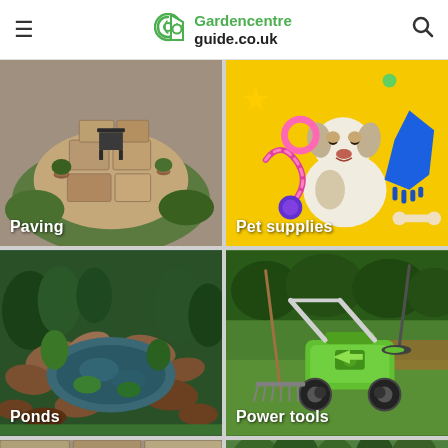Gardencentreguide.co.uk
[Figure (photo): Aerial view of a stone patio with outdoor furniture and circular paving design surrounded by grass and plants]
Paving
[Figure (photo): White Jack Russell terrier dog sitting on yellow background with colorful pet toys and a blue grooming glove]
Pet supplies
[Figure (photo): Garden pond surrounded by rocks and lush green plants with lily pads floating on water]
Ponds
[Figure (photo): Green lawn mower, garden rake, and trimmer tools on grass with flower beds in background]
Power tools
[Figure (photo): Partial view of stone paving at bottom left]
[Figure (photo): Partial view of garden plants at bottom right]